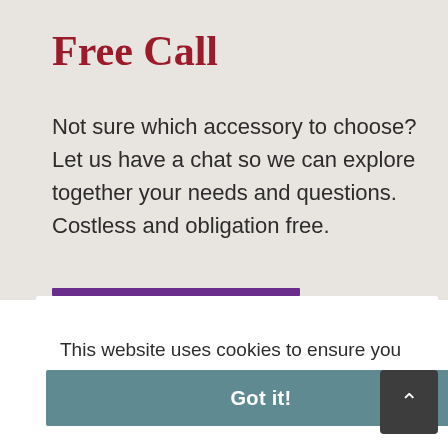Free Call
Not sure which accessory to choose? Let us have a chat so we can explore together your needs and questions. Costless and obligation free.
This website uses cookies to ensure you get the best experience on our website.
Privacy Policy
Got it!